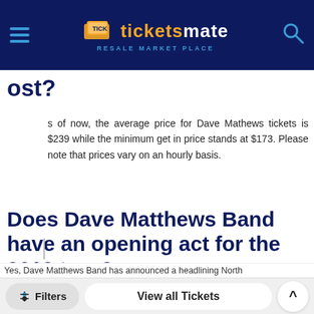ticketsmate RESALE MARKET PLACE
…ost?
As of now, the average price for Dave Mathews tickets is $239 while the minimum get in price stands at $173. Please note that prices vary on an hourly basis.
Does Dave Matthews Band have an opening act for the 2019 tour?
As of now, Dave Mathews Band has not announced an opening act for their headlining summer tour 2019.
Is Dave Matthews Band touring in
Yes, Dave Matthews Band has announced a headlining North…